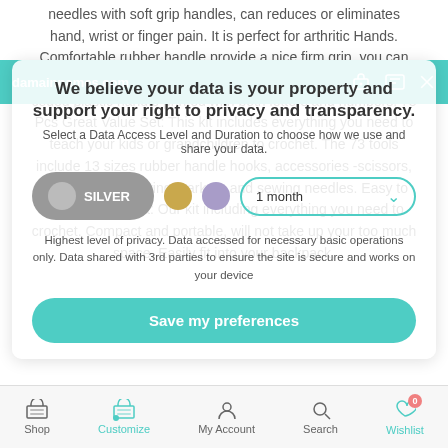needles with soft grip handles, can reduces or eliminates hand, wrist or finger pain. It is perfect for arthritic Hands. Comfortable rubber handle provide a nice firm grip, you can crochet longer without discomfort. Every hook has a color-coded plastic handle printed with both letters and numbers. 73 Pcs Great Value Set: This kit includes everything you need to teach your kids or grandchildren to crochet. The 73 tools include 13 sizes rubber handle hooks, accessories -scissors, stitch marker, knitting markers and sewing needles. Easy to Case & Ideal Gift: Our kit including everything you need to crochet. Compact and portable, will not take up your too much space. Easily fit into your backpack,
[Figure (screenshot): Privacy consent overlay dialog on a mobile app with teal header bar showing domain name, privacy title 'We believe your data is your property and support your right to privacy and transparency.', data level selectors (Silver button, gold circle, purple circle), 1 month duration dropdown, privacy description text, and a teal 'Save my preferences' button. Bottom navigation bar with Shop, Customize, My Account, Search, Wishlist icons.]